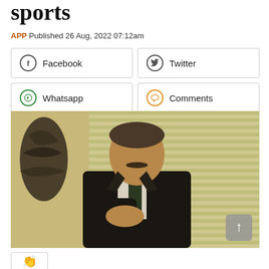sports
APP Published 26 Aug, 2022 07:12am
[Figure (screenshot): Social sharing buttons: Facebook, Twitter, Whatsapp, Comments]
[Figure (photo): Photo of a man in a dark suit with a striped tie, sitting and gesturing with his hand, with venetian blinds in the background]
[Figure (other): Clapping hands emoji in a bordered box at bottom left]